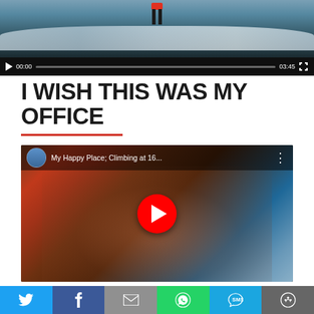[Figure (screenshot): Video player showing action scene with play button, progress bar showing 00:00 / 03:45, and fullscreen button]
I WISH THIS WAS MY OFFICE
[Figure (screenshot): YouTube video thumbnail titled 'My Happy Place; Climbing at 16...' showing a smiling climber with goggles and red gear with mountains in background, with YouTube play button overlay]
[Figure (infographic): Social share bar with Twitter, Facebook, Email, WhatsApp, SMS, and More buttons]